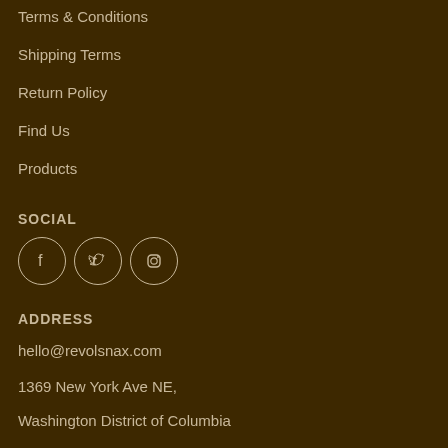Terms & Conditions
Shipping Terms
Return Policy
Find Us
Products
SOCIAL
[Figure (other): Social media icons: Facebook, Twitter, Instagram in circular outlines]
ADDRESS
hello@revolsnax.com
1369 New York Ave NE,
Washington District of Columbia